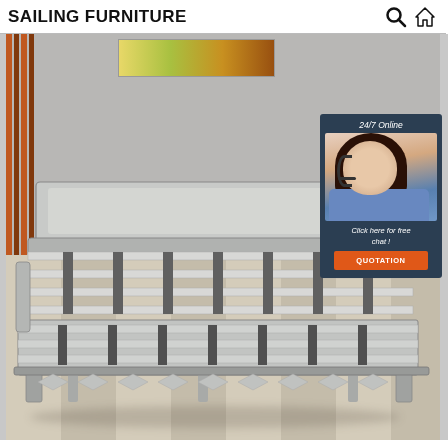SAILING FURNITURE
[Figure (photo): A pull-out sofa bed / wall bed showing the metal frame and slats extended, photographed in a showroom with grey walls, art on the wall, and wood-look flooring. An orange/brown vertical stripe panel is visible on the left wall.]
24/7 Online
Click here for free chat !
QUOTATION